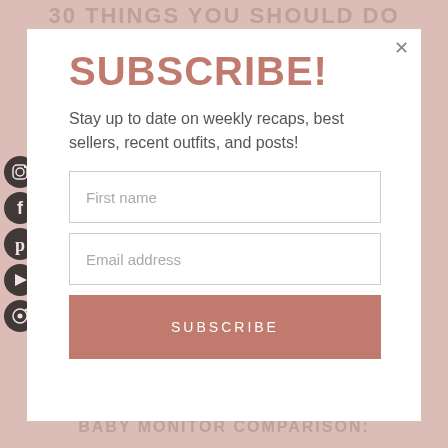30 THINGS YOU SHOULD DO BEFORE 30
[Figure (screenshot): Social media sidebar icons (Instagram, Facebook, Pinterest, YouTube, another circle icon)]
SUBSCRIBE!
Stay up to date on weekly recaps, best sellers, recent outfits, and posts!
First name
Email address
SUBSCRIBE
BABY MONITOR COMPARISON: